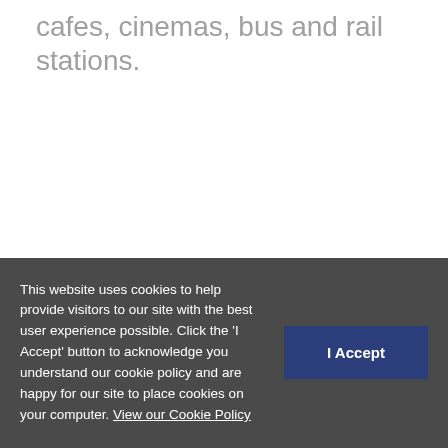cafes, cinemas, bus and rail stations.
This website uses cookies to help provide visitors to our site with the best user experience possible. Click the 'I Accept' button to acknowledge you understand our cookie policy and are happy for our site to place cookies on your computer. View our Cookie Policy
I Accept